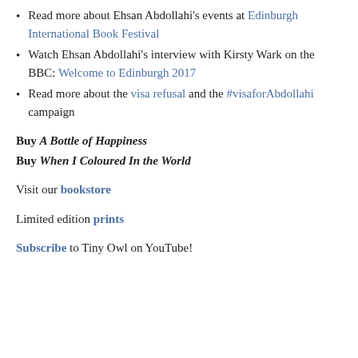Read more about Ehsan Abdollahi's events at Edinburgh International Book Festival
Watch Ehsan Abdollahi's interview with Kirsty Wark on the BBC: Welcome to Edinburgh 2017
Read more about the visa refusal and the #visaforAbdollahi campaign
Buy A Bottle of Happiness
Buy When I Coloured In the World
Visit our bookstore
Limited edition prints
Subscribe to Tiny Owl on YouTube!